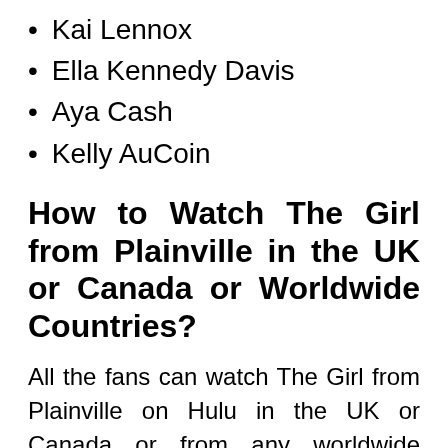Kai Lennox
Ella Kennedy Davis
Aya Cash
Kelly AuCoin
How to Watch The Girl from Plainville in the UK or Canada or Worldwide Countries?
All the fans can watch The Girl from Plainville on Hulu in the UK or Canada or from any worldwide country by using ExpressVPN